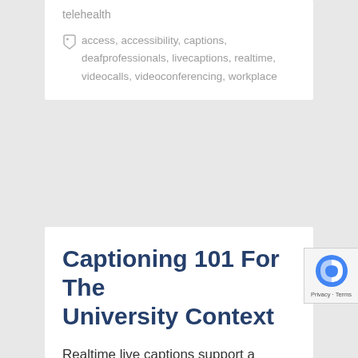telehealth
access, accessibility, captions, deafprofessionals, livecaptions, realtime, videocalls, videoconferencing, workplace
Captioning 101 For The University Context
Realtime live captions support a broader range of attendees at university and college-hosted events like classes, sports events, guest lectures, theatre performances and student commencements at a more cost-effective price, according to UniversityBusiness.com. The problem with using ASL as a blanket solution for [deaf students] is that many hard-of-hearing students don't know sign language. Now